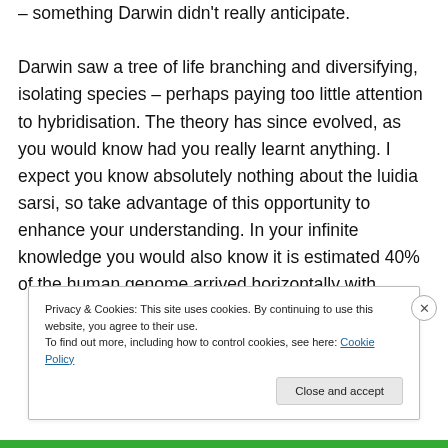– something Darwin didn't really anticipate. Darwin saw a tree of life branching and diversifying, isolating species – perhaps paying too little attention to hybridisation. The theory has since evolved, as you would know had you really learnt anything. I expect you know absolutely nothing about the luidia sarsi, so take advantage of this opportunity to enhance your understanding. In your infinite knowledge you would also know it is estimated 40% of the human genome arrived horizontally with
Privacy & Cookies: This site uses cookies. By continuing to use this website, you agree to their use.
To find out more, including how to control cookies, see here: Cookie Policy